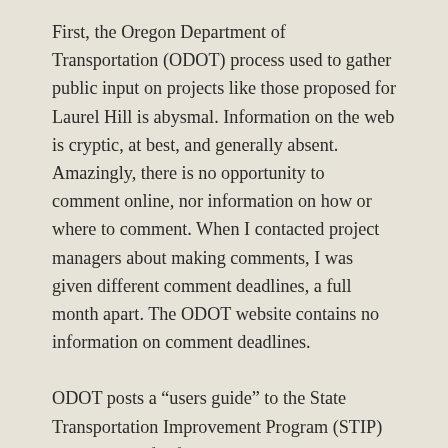First, the Oregon Department of Transportation (ODOT) process used to gather public input on projects like those proposed for Laurel Hill is abysmal. Information on the web is cryptic, at best, and generally absent. Amazingly, there is no opportunity to comment online, nor information on how or where to comment. When I contacted project managers about making comments, I was given different comment deadlines, a full month apart. The ODOT website contains no information on comment deadlines.
ODOT posts a “users guide” to the State Transportation Improvement Program (STIP) process used for funding decisions, but this document manages to be more cryptic than the draft STIP document, itself, since it has been written for government workers and program insiders, not citizens. The process is also designed to